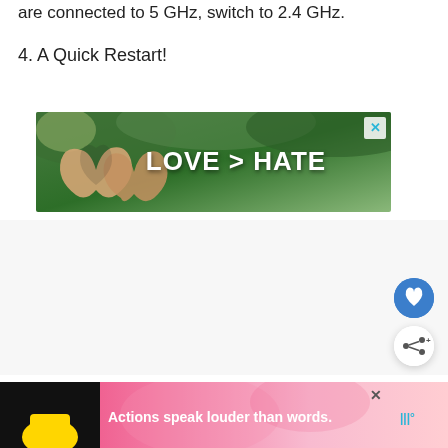are connected to 5 GHz, switch to 2.4 GHz.
4. A Quick Restart!
[Figure (illustration): Advertisement banner showing two hands forming a heart shape against a green nature background with bold white text reading 'LOVE > HATE' and a cyan X close button in the top right corner.]
[Figure (illustration): Bottom advertisement banner on black background showing a person in a yellow shirt with pink/rose patterned background and white bold text 'Actions speak louder than words.' with a close X button and a logo.]